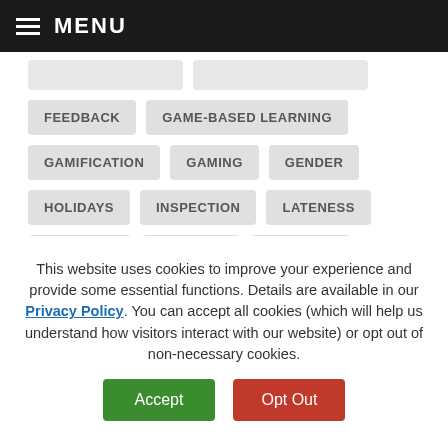MENU
FEEDBACK
GAME-BASED LEARNING
GAMIFICATION
GAMING
GENDER
HOLIDAYS
INSPECTION
LATENESS
LEARNING
LESSONS
LITERACY
This website uses cookies to improve your experience and provide some essential functions. Details are available in our Privacy Policy. You can accept all cookies (which will help us understand how visitors interact with our website) or opt out of non-necessary cookies.
Accept
Opt Out